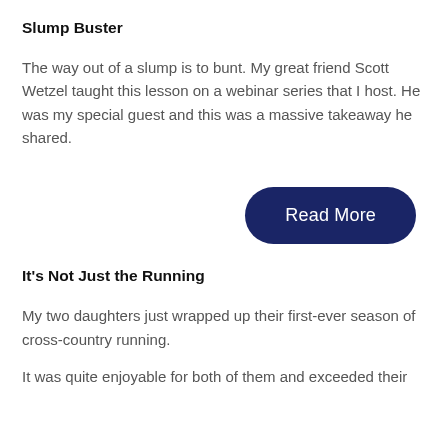Slump Buster
The way out of a slump is to bunt. My great friend Scott Wetzel taught this lesson on a webinar series that I host. He was my special guest and this was a massive takeaway he shared.
[Figure (other): Read More button - dark navy blue pill-shaped button with white text]
It's Not Just the Running
My two daughters just wrapped up their first-ever season of cross-country running.
It was quite enjoyable for both of them and exceeded their